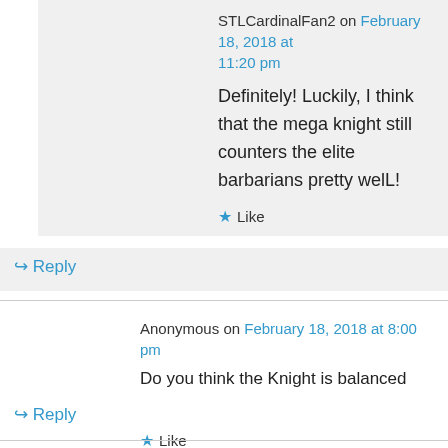STLCardinalFan2 on February 18, 2018 at 11:20 pm
Definitely! Luckily, I think that the mega knight still counters the elite barbarians pretty welL!
Like
Reply
Anonymous on February 18, 2018 at 8:00 pm
Do you think the Knight is balanced now?
Like
Reply